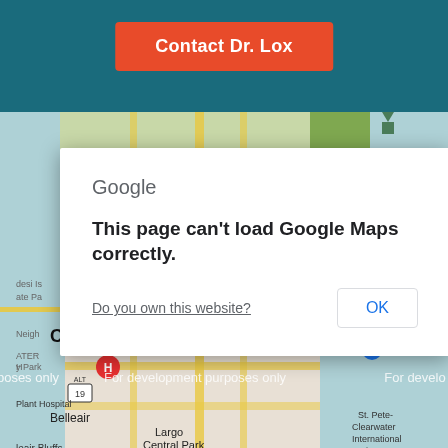[Figure (screenshot): Webpage screenshot showing a teal header with a red 'Contact Dr. Lox' button, a Google Maps area displaying Clearwater Florida, and a Google Maps error dialog overlay saying 'This page can't load Google Maps correctly.' with an OK button and 'Do you own this website?' link.]
Contact Dr. Lox
Google
This page can't load Google Maps correctly.
Do you own this website?
OK
Clearwater
For development purposes only
Moccasin Lake Nature Park
Belleair
Largo Central Park
Costco Wholesale
St. Pete- Clearwater International Airport